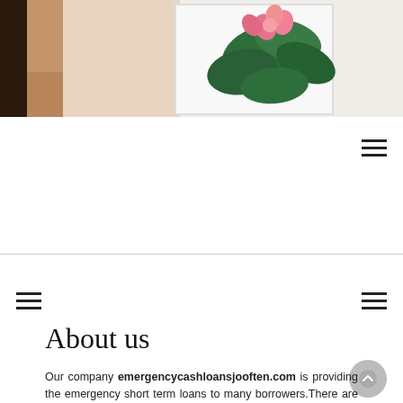[Figure (photo): A hand holding a picture frame with pink flowers and green leaves on a white background — hero image at top of page]
About us
Our company emergencycashloansjooften.com is providing the emergency short term loans to many borrowers.There are many people who require money in emergencies like medical treatmentsbut they have no idea where they can lend the money easily. Weunderstand the credit requirement in emergency situations and then we provide the best mini crisis